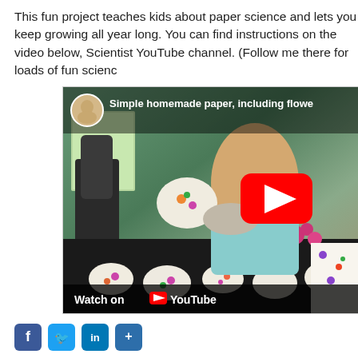This fun project teaches kids about paper science and lets you keep growing all year long. You can find instructions on the video below, Scientist YouTube channel. (Follow me there for loads of fun scienc
[Figure (screenshot): YouTube video thumbnail showing a woman demonstrating homemade paper making in a kitchen, with bowls, flowers, and a blender on a dark tray. Video title reads 'Simple homemade paper, including flowe'. A red YouTube play button is visible in the center. The bottom bar shows 'Watch on YouTube'.]
[Figure (infographic): Row of social media sharing icons at the bottom: Facebook (blue), Twitter (blue), LinkedIn (blue), and another blue icon.]